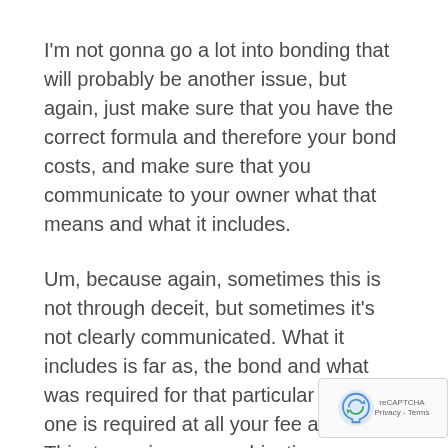I'm not gonna go a lot into bonding that will probably be another issue, but again, just make sure that you have the correct formula and therefore your bond costs, and make sure that you communicate to your owner what that means and what it includes.
Um, because again, sometimes this is not through deceit, but sometimes it's not clearly communicated. What it includes is far as, the bond and what was required for that particular project if one is required at all your fee again. This, to me is a very subjective conversation.
We talked a little bit about it as it relates to your general conditions in your top of the line costs. So we tend to look at the fee a little. Well, I should say we look at it differently because generally it...